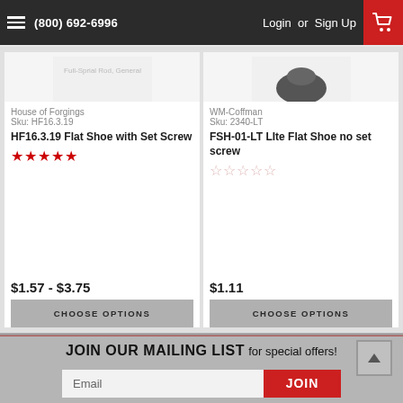(800) 692-6996  Login or Sign Up
House of Forgings
Sku: HF16.3.19
HF16.3.19 Flat Shoe with Set Screw
★★★★★
$1.57 - $3.75
WM-Coffman
Sku: 2340-LT
FSH-01-LT LIte Flat Shoe no set screw
☆☆☆☆☆
$1.11
JOIN OUR MAILING LIST for special offers!